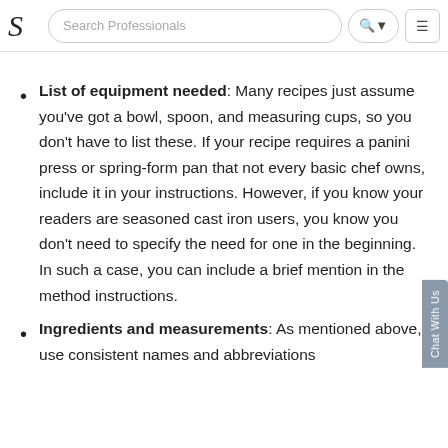Search Professionals
List of equipment needed: Many recipes just assume you've got a bowl, spoon, and measuring cups, so you don't have to list these. If your recipe requires a panini press or spring-form pan that not every basic chef owns, include it in your instructions. However, if you know your readers are seasoned cast iron users, you know you don't need to specify the need for one in the beginning. In such a case, you can include a brief mention in the method instructions.
Ingredients and measurements: As mentioned above, use consistent names and abbreviations